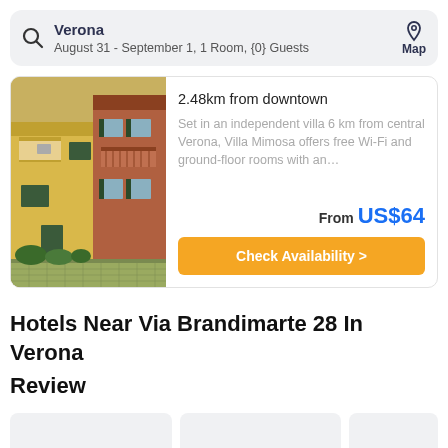Verona
August 31 - September 1, 1 Room, {0} Guests
[Figure (photo): Exterior photo of Villa Mimosa: yellow and terracotta building with balconies and green shutters, courtyard with brick pavement and shrubs]
2.48km from downtown
Set in an independent villa 6 km from central Verona, Villa Mimosa offers free Wi-Fi and ground-floor rooms with an…
From US$64
Check Availability >
Hotels Near Via Brandimarte 28 In Verona
Review